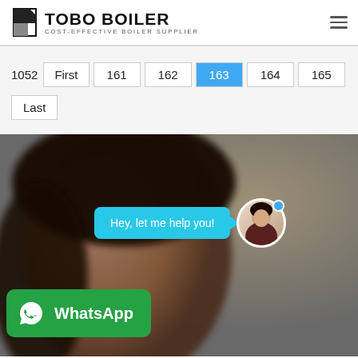TOBO BOILER — COST-EFFECTIVE BOILER SUPPLIER
1052  First  161  162  163  164  165  Last
[Figure (photo): Woman's face blurred in background with a chat overlay saying 'Hey, let me help you!' and a WhatsApp button at the bottom left]